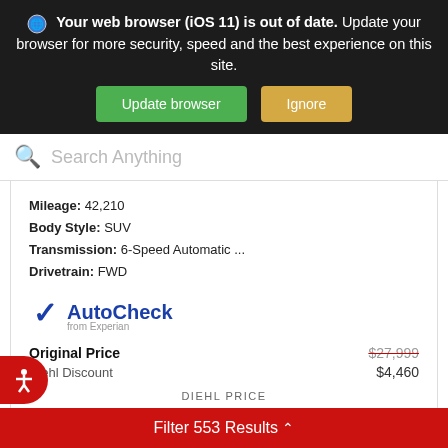Your web browser (iOS 11) is out of date. Update your browser for more security, speed and the best experience on this site.
Update browser | Ignore
Search Anything
Mileage: 42,210
Body Style: SUV
Transmission: 6-Speed Automatic ...
Drivetrain: FWD
[Figure (logo): AutoCheck from Experian logo — blue checkmark with 'AutoCheck' in bold blue and 'from Experian' in small gray text]
| Original Price | $27,999 |
| Diehl Discount | $4,460 |
DIEHL PRICE
$23,439
Filter 553 Results ^